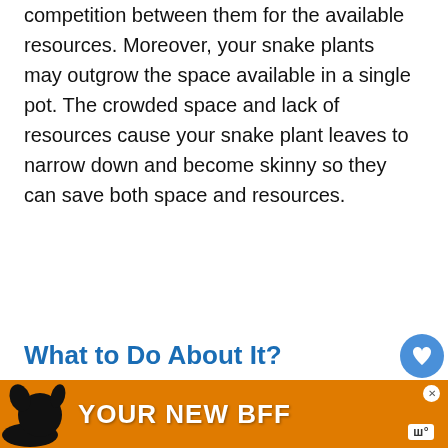competition between them for the available resources. Moreover, your snake plants may outgrow the space available in a single pot. The crowded space and lack of resources cause your snake plant leaves to narrow down and become skinny so they can save both space and resources.
What to Do About It?
If you do not move the plants to separate pots
We use cookies on our website to give you the most relevant experience by remembering your preferences and. By clicking “Accept”, you consent to the use of AL…
Do not sell my personal information.
[Figure (other): Advertisement banner with orange background showing a dog silhouette and text YOUR NEW BFF]
[Figure (other): What's Next widget showing Why Is My Succulent... with a thumbnail image]
[Figure (other): Social widget with heart like button showing count 1 and share button]